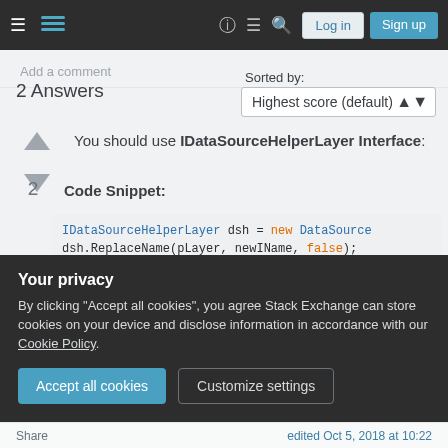Stack Exchange navigation bar with Log in and Sign up buttons
Add a comment
2 Answers
Sorted by: Highest score (default)
You should use IDataSourceHelperLayer Interface:
Code Snippet:
IDataSourceHelperLayer dsh = new DataSource
dsh.ReplaceName(pLayer, newIName, false);
Your privacy
By clicking "Accept all cookies", you agree Stack Exchange can store cookies on your device and disclose information in accordance with our Cookie Policy.
Accept all cookies   Customize settings
Share   edited Oct 5, 2018 at 10:22